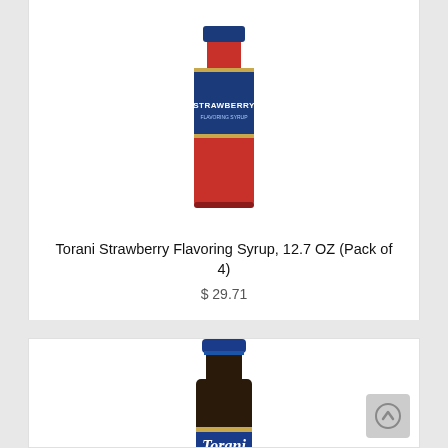[Figure (photo): Torani Strawberry Flavoring Syrup bottle with blue label, showing red syrup inside glass bottle]
Torani Strawberry Flavoring Syrup, 12.7 OZ (Pack of 4)
$ 29.71
[Figure (photo): Torani flavoring syrup bottle with blue cap and blue Torani script label, showing dark syrup inside]
[Figure (other): Back to top arrow button icon]